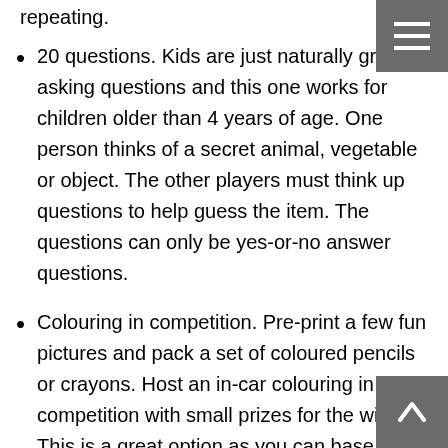repeating.
20 questions. Kids are just naturally great at asking questions and this one works for children older than 4 years of age. One person thinks of a secret animal, vegetable or object. The other players must think up questions to help guess the item. The questions can only be yes-or-no answer questions.
Colouring in competition. Pre-print a few fun pictures and pack a set of coloured pencils or crayons. Host an in-car colouring in competition with small prizes for the winners. This is a great option as you can base the winning results on more than one coloured in picture. Be sure to